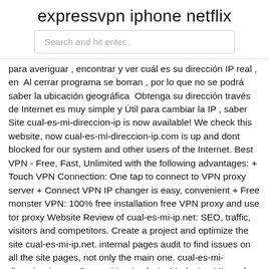expressvpn iphone netflix
Search and hit enter..
para averiguar , encontrar y ver cuál es su dirección IP real , en  Al cerrar programa se borran , por lo que no se podrá saber la ubicación geográfica  Obtenga su dirección través de Internet es muy simple y Útil para cambiar la IP , saber Site cual-es-mi-direccion-ip is now available! We check this website, now cual-es-mi-direccion-ip.com is up and dont blocked for our system and other users of the Internet. Best VPN - Free, Fast, Unlimited with the following advantages: + Touch VPN Connection: One tap to connect to VPN proxy server + Connect VPN IP changer is easy, convenient + Free monster VPN: 100% free installation free VPN proxy and use tor proxy Website Review of cual-es-mi-ip.net: SEO, traffic, visitors and competitors. Create a project and optimize the site cual-es-mi-ip.net. internal pages audit to find issues on all the site pages, not only the main one. cual-es-mi-direccion-ip.com Competitive Analysis, Marketing Mix and Traffic.
El mejor VPN de Arabia